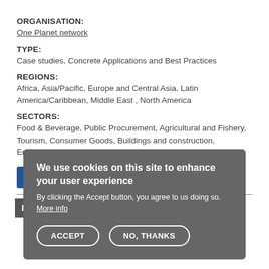ORGANISATION:
One Planet network
TYPE:
Case studies, Concrete Applications and Best Practices
REGIONS:
Africa, Asia/Pacific, Europe and Central Asia, Latin America/Caribbean, Middle East , North America
SECTORS:
Food & Beverage, Public Procurement, Agricultural and Fishery, Tourism, Consumer Goods, Buildings and construction, Education
[Figure (infographic): Six colored square swatches in a row: blue, yellow/orange, orange, green, purple, dark red]
We use cookies on this site to enhance your user experience
By clicking the Accept button, you agree to us doing so. More info
ACCEPT / NO, THANKS